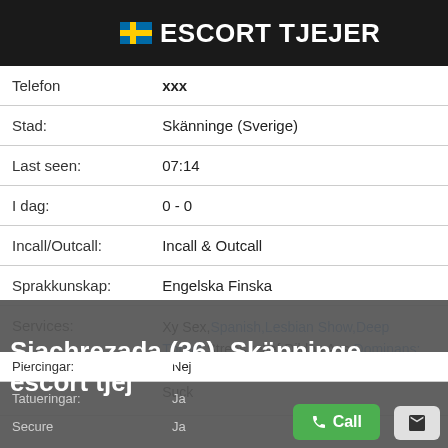🇸🇪 ESCORT TJEJER
| Telefon | xxx |
| Stad: | Skänninge (Sverige) |
| Last seen: | 07:14 |
| I dag: | 0 - 0 |
| Incall/Outcall: | Incall & Outcall |
| Sprakkunskap: | Engelska Finska |
| Services: | Xy Sex, Spanish, Lesbian Show, Deep Throat, Stress relief, Dildos Ass, Dominans: Slavhora, Dominance, 69, Uniforms, Narcissist Suck |
| Piercingar: | Nej |
| Tatueringar: | Ja |
| Secure | Ja |
Sjachrezada (36), Skänninge, escort tjej